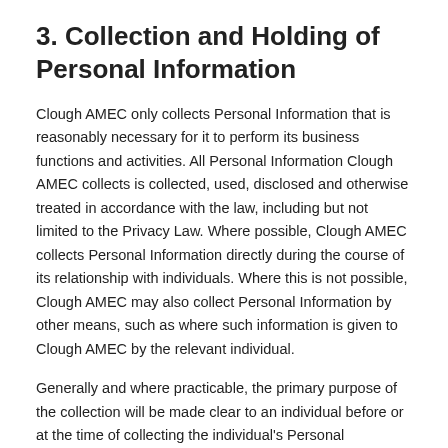3. Collection and Holding of Personal Information
Clough AMEC only collects Personal Information that is reasonably necessary for it to perform its business functions and activities. All Personal Information Clough AMEC collects is collected, used, disclosed and otherwise treated in accordance with the law, including but not limited to the Privacy Law. Where possible, Clough AMEC collects Personal Information directly during the course of its relationship with individuals. Where this is not possible, Clough AMEC may also collect Personal Information by other means, such as where such information is given to Clough AMEC by the relevant individual.
Generally and where practicable, the primary purpose of the collection will be made clear to an individual before or at the time of collecting the individual's Personal Information. A typical purpose for which Clough AMEC may collect Personal